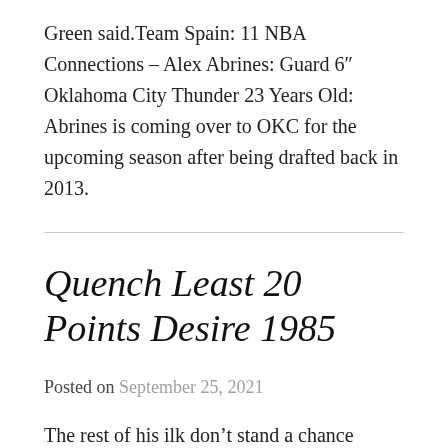Green said.Team Spain: 11 NBA Connections – Alex Abrines: Guard 6″ Oklahoma City Thunder 23 Years Old: Abrines is coming over to OKC for the upcoming season after being drafted back in 2013.
Quench Least 20 Points Desire 1985
Posted on September 25, 2021
The rest of his ilk don't stand a chance Cotton